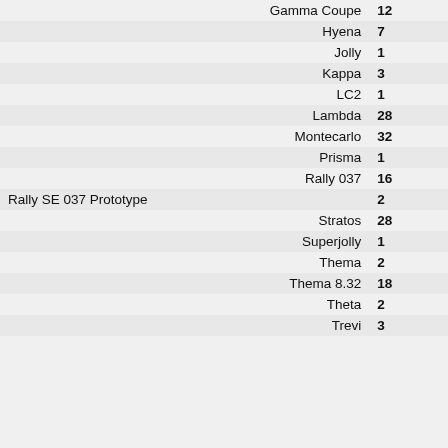| Model | Count |
| --- | --- |
| Gamma Coupe | 12 |
| Hyena | 7 |
| Jolly | 1 |
| Kappa | 3 |
| LC2 | 1 |
| Lambda | 28 |
| Montecarlo | 32 |
| Prisma | 1 |
| Rally 037 | 16 |
| Rally SE 037 Prototype | 2 |
| Stratos | 28 |
| Superjolly | 1 |
| Thema | 2 |
| Thema 8.32 | 18 |
| Theta | 2 |
| Trevi | 3 |